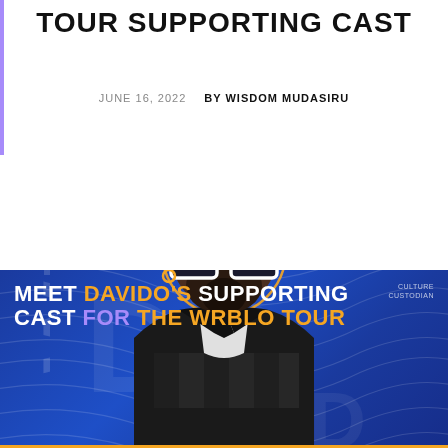TOUR SUPPORTING CAST
JUNE 16, 2022   BY WISDOM MUDASIRU
[Figure (photo): Promotional photo collage showing a Black man wearing white square-frame sunglasses and a black leather checkered jacket, on a blue background with wavy abstract patterns and large faded letters. Text overlay reads: MEET DAVIDO'S SUPPORTING CAST FOR THE WRBLO TOUR. Culture Custodian logo in top right corner.]